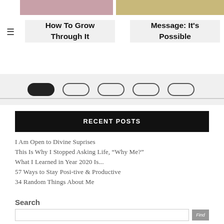[Figure (photo): Photo of flowers (left) and textile/quilt pattern (right) at top of page]
How To Grow Through It
Message: It's Possible
[Figure (infographic): Navigation dots: one filled black oval, four empty oval outlines]
RECENT POSTS
I Am Open to Divine Suprises
This Is Why I Stopped Asking Life, “Why Me?”
What I Learned in Year 2020 Is...
57 Ways to Stay Posi-tive & Productive
34 Random Things About Me
Search